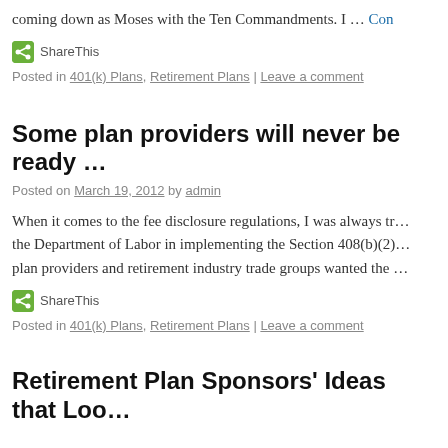coming down as Moses with the Ten Commandments. I … Con…
[Figure (other): ShareThis social share button]
Posted in 401(k) Plans, Retirement Plans | Leave a comment
Some plan providers will never be ready…
Posted on March 19, 2012 by admin
When it comes to the fee disclosure regulations, I was always tr… the Department of Labor in implementing the Section 408(b)(2)… plan providers and retirement industry trade groups wanted the …
[Figure (other): ShareThis social share button]
Posted in 401(k) Plans, Retirement Plans | Leave a comment
Retirement Plan Sponsors' Ideas that Loo…